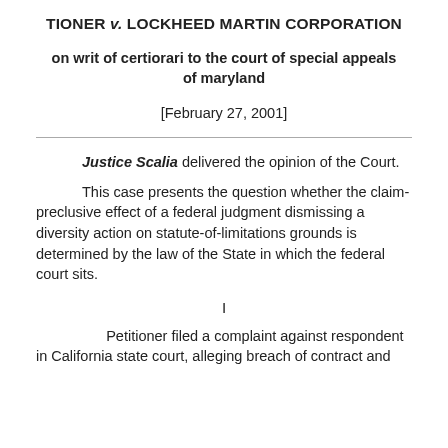TIONER v. LOCKHEED MARTIN CORPORATION
on writ of certiorari to the court of special appeals of maryland
[February 27, 2001]
Justice Scalia delivered the opinion of the Court.
This case presents the question whether the claim-preclusive effect of a federal judgment dismissing a diversity action on statute-of-limitations grounds is determined by the law of the State in which the federal court sits.
I
Petitioner filed a complaint against respondent in California state court, alleging breach of contract and